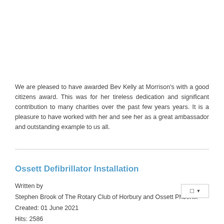We are pleased to have awarded Bev Kelly at Morrison's with a good citizens award. This was for her tireless dedication and significant contribution to many charities over the past few years years. It is a pleasure to have worked with her and see her as a great ambassador and outstanding example to us all.
Ossett Defibrillator Installation
Written by
Stephen Brook of The Rotary Club of Horbury and Ossett Phoenix
Created: 01 June 2021
Hits: 2586